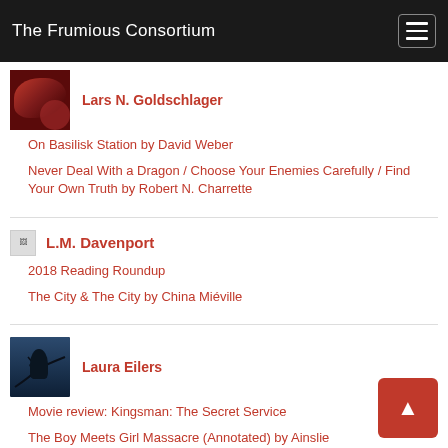The Frumious Consortium
[Figure (photo): Author avatar for Lars N. Goldschlager — red/dark toned image]
Lars N. Goldschlager
On Basilisk Station by David Weber
Never Deal With a Dragon / Choose Your Enemies Carefully / Find Your Own Truth by Robert N. Charrette
[Figure (photo): Small placeholder avatar for L.M. Davenport]
L.M. Davenport
2018 Reading Roundup
The City & The City by China Miéville
[Figure (photo): Author avatar for Laura Eilers — dark blue image with bird silhouette on branch]
Laura Eilers
Movie review: Kingsman: The Secret Service
The Boy Meets Girl Massacre (Annotated) by Ainslie Hogarth
A Brief History of... (cut off)